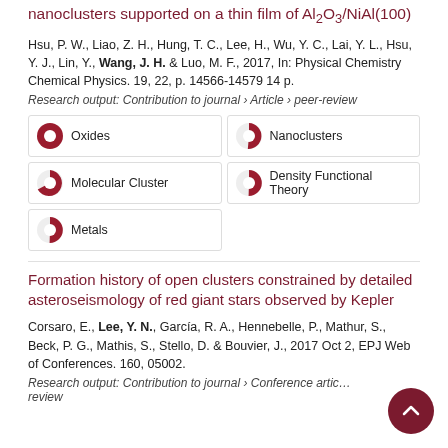nanoclusters supported on a thin film of Al2O3/NiAl(100)
Hsu, P. W., Liao, Z. H., Hung, T. C., Lee, H., Wu, Y. C., Lai, Y. L., Hsu, Y. J., Lin, Y., Wang, J. H. & Luo, M. F., 2017, In: Physical Chemistry Chemical Physics. 19, 22, p. 14566-14579 14 p.
Research output: Contribution to journal › Article › peer-review
[Figure (infographic): Keyword badges: Oxides 100%, Nanoclusters 93%, Molecular Cluster 67%, Density Functional Theory 51%, Metals 51%]
Formation history of open clusters constrained by detailed asteroseismology of red giant stars observed by Kepler
Corsaro, E., Lee, Y. N., García, R. A., Hennebelle, P., Mathur, S., Beck, P. G., Mathis, S., Stello, D. & Bouvier, J., 2017 Oct 2, EPJ Web of Conferences. 160, 05002.
Research output: Contribution to journal › Conference article › peer-review